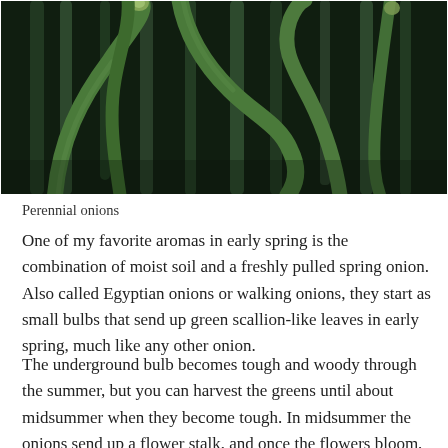[Figure (photo): Close-up photograph of perennial onion plants with tall green stalks curling and intertwining, some with budding tops, dark background with dense foliage.]
Perennial onions
One of my favorite aromas in early spring is the combination of moist soil and a freshly pulled spring onion. Also called Egyptian onions or walking onions, they start as small bulbs that send up green scallion-like leaves in early spring, much like any other onion.
The underground bulb becomes tough and woody through the summer, but you can harvest the greens until about midsummer when they become tough. In midsummer the onions send up a flower stalk, and once the flowers bloom, they turn into small bulblets sitting at